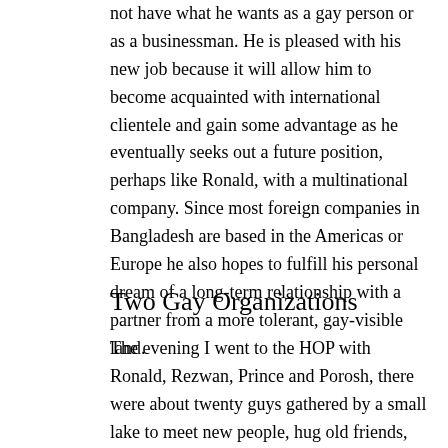not have what he wants as a gay person or as a businessman. He is pleased with his new job because it will allow him to become acquainted with international clientele and gain some advantage as he eventually seeks out a future position, perhaps like Ronald, with a multinational company. Since most foreign companies in Bangladesh are based in the Americas or Europe he also hopes to fulfill his personal dream of a long-term relationship with a partner from a more tolerant, gay-visible land.
Two Gay Organizations
The evening I went to the HOP with Ronald, Rezwan, Prince and Porosh, there were about twenty guys gathered by a small lake to meet new people, hug old friends, cruise a bit and plan for other events such as a film screening or a party. (photo right)
Prince told me BOB also quietly works to promote